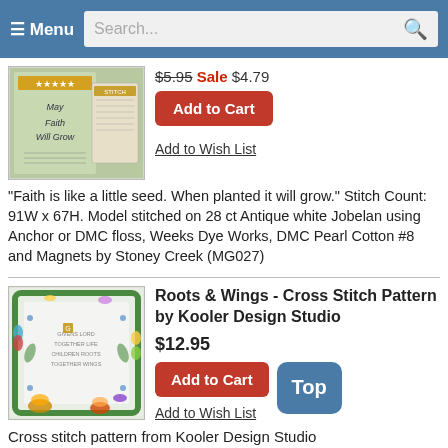Menu | Search...
[Figure (photo): Cross stitch pattern product image showing 'May Faith Will Grow' leaflet with two versions of the design]
$5.95 Sale $4.79
Add to Cart
Add to Wish List
"Faith is like a little seed. When planted it will grow." Stitch Count: 91W x 67H. Model stitched on 28 ct Antique white Jobelan using Anchor or DMC floss, Weeks Dye Works, DMC Pearl Cotton #8 and Magnets by Stoney Creek (MG027)
[Figure (photo): Cross stitch pattern product image showing Roots & Wings design with colorful butterflies and floral border]
Roots & Wings - Cross Stitch Pattern by Kooler Design Studio
$12.95
Add to Cart
Add to Wish List
Cross stitch pattern from Kooler Design Studio